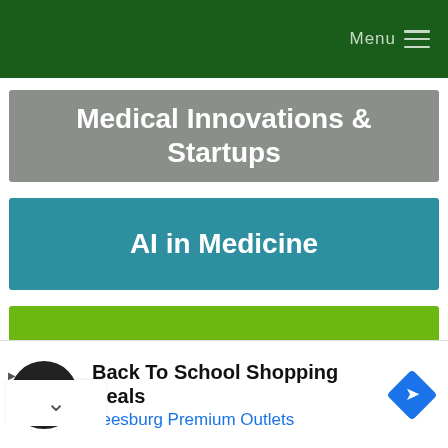Menu
Medical Innovations & Startups
AI in Medicine
Thailand Biotech News
Medical Spheres Bulletins
Back To School Shopping Deals
Leesburg Premium Outlets